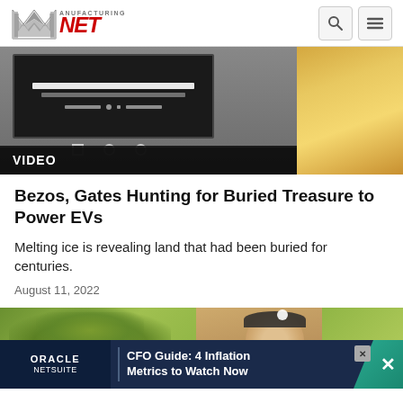Manufacturing.NET
[Figure (screenshot): Video thumbnail showing a dark screen with a manufacturing/industrial display on the left and a golden-toned image on the right. A black bar at bottom with VIDEO label.]
VIDEO
Bezos, Gates Hunting for Buried Treasure to Power EVs
Melting ice is revealing land that had been buried for centuries.
August 11, 2022
[Figure (photo): Photo of a young woman with a floral headband against green foliage background, with a Manufacturing.NET logo visible at lower left.]
ORACLE NETSUITE | CFO Guide: 4 Inflation Metrics to Watch Now